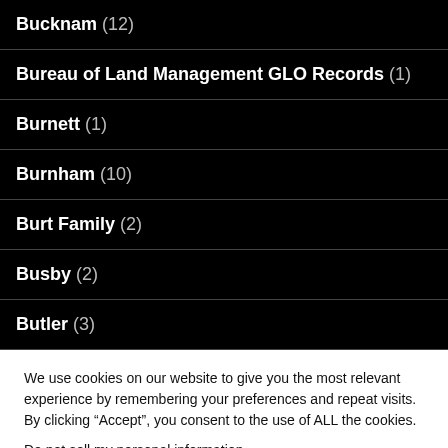Bucknam (12)
Bureau of Land Management GLO Records (1)
Burnett (1)
Burnham (10)
Burt Family (2)
Busby (2)
Butler (3)
We use cookies on our website to give you the most relevant experience by remembering your preferences and repeat visits. By clicking “Accept”, you consent to the use of ALL the cookies.
Do not sell my personal information.
Cookie settings  ACCEPT